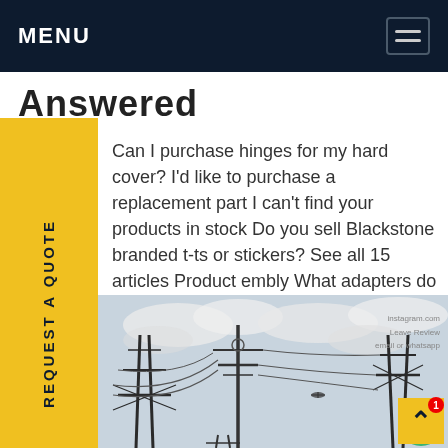MENU
Answered
Can I purchase hinges for my hard cover? I'd like to purchase a replacement part I can't find your products in stock Do you sell Blackstone branded t-ts or stickers? See all 15 articles Product embly What adapters do I need for my 1948 pGet price
[Figure (photo): Photo of electrical power transmission towers with cables and wires against a cloudy sky, with a helicopter visible in the background]
REQUEST A QUOTE